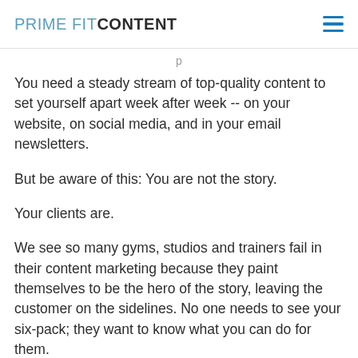PRIME FIT CONTENT
You need a steady stream of top-quality content to set yourself apart week after week -- on your website, on social media, and in your email newsletters.
But be aware of this: You are not the story.
Your clients are.
We see so many gyms, studios and trainers fail in their content marketing because they paint themselves to be the hero of the story, leaving the customer on the sidelines. No one needs to see your six-pack; they want to know what you can do for them.
So promote your functional aging certifications, your advanced training in post-surgical exercise, and your